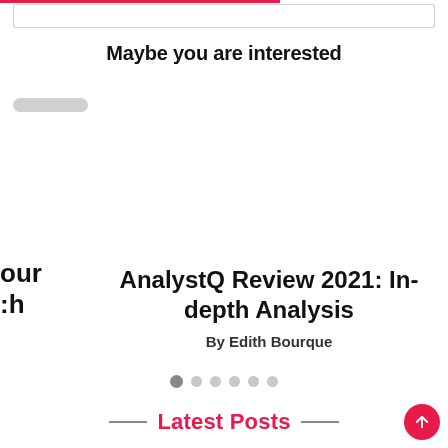Maybe you are interested
[Figure (screenshot): Partially visible article card on left edge showing text 'our' and 'h']
AnalystQ Review 2021: In-depth Analysis
By Edith Bourque
[Figure (infographic): Carousel navigation dots, 6 dots total, first dot is active/dark]
Latest Posts